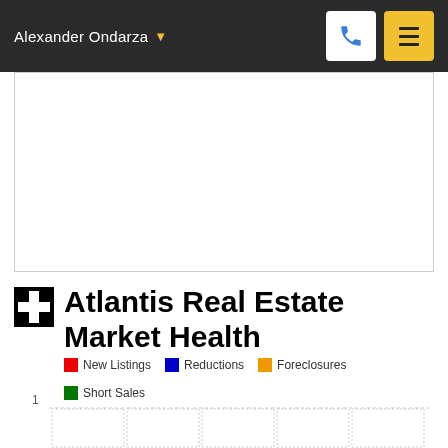Alexander Ondarza
[Figure (other): White rectangular content area / advertisement placeholder]
Atlantis Real Estate Market Health
[Figure (bar-chart): Grouped bar chart showing real estate market health metrics. Y-axis shows value of 1 visible. Chart is partially cut off at bottom.]